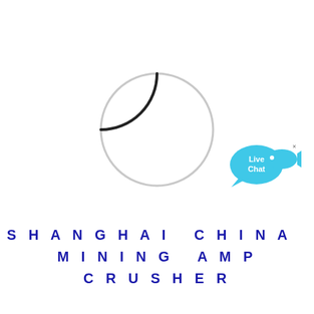[Figure (illustration): A loading spinner circle outline, mostly light gray with a small dark/black arc segment at the top-left, indicating a page or content loading state.]
[Figure (illustration): Live Chat button icon: a cyan/blue speech bubble with the text 'Live Chat' and a fish-shaped cursor icon next to it, with a small 'x' close button in the top-right corner.]
SHANGHAI CHINA MINING AMP CRUSHER